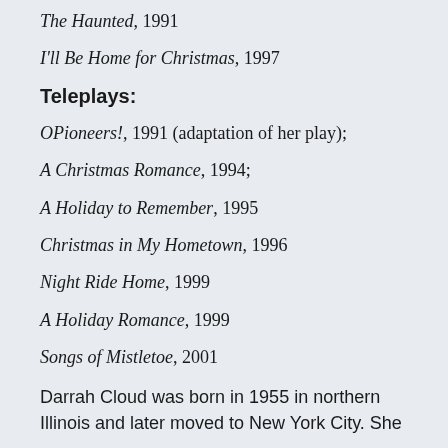The Haunted, 1991
I'll Be Home for Christmas, 1997
Teleplays:
OPioneers!, 1991 (adaptation of her play);
A Christmas Romance, 1994;
A Holiday to Remember, 1995
Christmas in My Hometown, 1996
Night Ride Home, 1999
A Holiday Romance, 1999
Songs of Mistletoe, 2001
Darrah Cloud was born in 1955 in northern Illinois and later moved to New York City. She